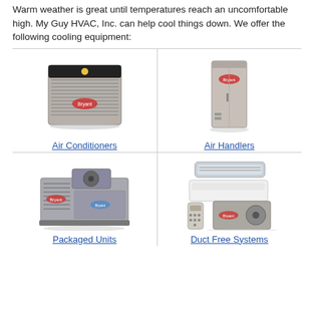Warm weather is great until temperatures reach an uncomfortable high. My Guy HVAC, Inc. can help cool things down. We offer the following cooling equipment:
[Figure (photo): Photo of a Bryant air conditioner outdoor unit]
Air Conditioners
[Figure (photo): Photo of a Bryant air handler unit]
Air Handlers
[Figure (photo): Photo of a Bryant packaged HVAC unit]
Packaged Units
[Figure (photo): Photo of a duct-free mini-split system with wall unit, remote, and outdoor compressor]
Duct Free Systems